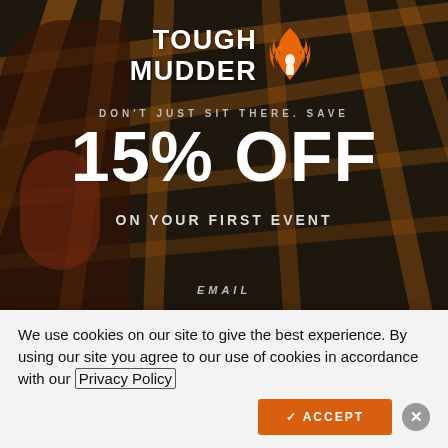[Figure (photo): Tough Mudder promotional hero image showing a woman on an obstacle course with wooden bars/monkey bars structure, darkened background. Overlay includes Tough Mudder logo with flame icon, promotional discount text, and email field label.]
TOUGH MUDDER
DON'T JUST SIT THERE. SAVE
15% OFF
ON YOUR FIRST EVENT
EMAIL
We use cookies on our site to give the best experience. By using our site you agree to our use of cookies in accordance with our Privacy Policy
✓ ACCEPT